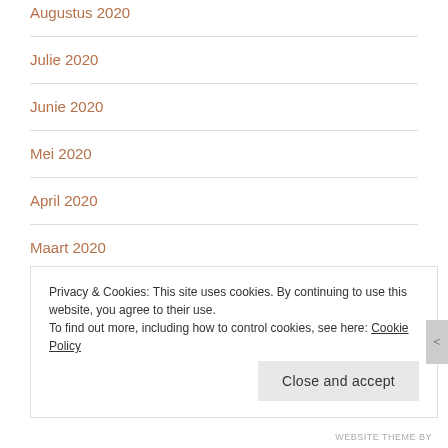Augustus 2020
Julie 2020
Junie 2020
Mei 2020
April 2020
Maart 2020
Februarie 2020
Privacy & Cookies: This site uses cookies. By continuing to use this website, you agree to their use.
To find out more, including how to control cookies, see here: Cookie Policy
WEBSITE THEME BY